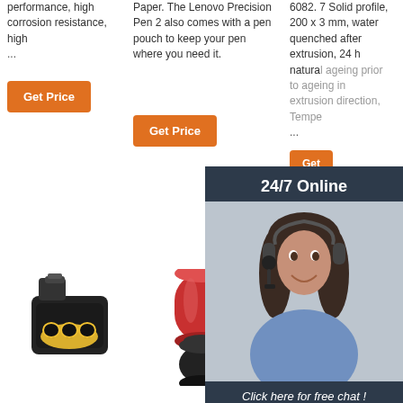performance, high corrosion resistance, high ...
Paper. The Lenovo Precision Pen 2 also comes with a pen pouch to keep your pen where you need it.
6082. 7 Solid profile, 200 x 3 mm, water quenched after extrusion, 24 h natural ageing prior to ageing in extrusion direction, Tempe ...
Get Price
Get Price
Get Price
24/7 Online
Click here for free chat !
QUOTATION
[Figure (photo): Black electrical connector with yellow seal]
[Figure (photo): Red and black heat shrink tubing]
[Figure (photo): Black corrugated conduit/cable sleeve with TOP badge]